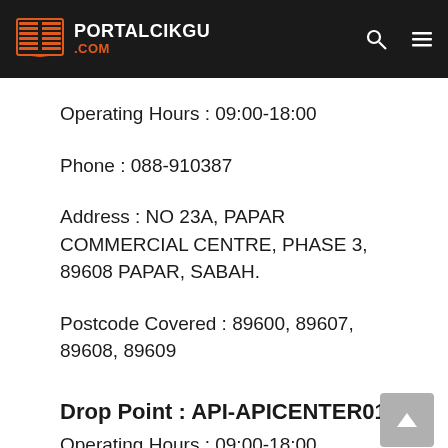PORTALCIKGU .COM
Operating Hours : 09:00-18:00
Phone : 088-910387
Address : NO 23A, PAPAR COMMERCIAL CENTRE, PHASE 3, 89608 PAPAR, SABAH.
Postcode Covered : 89600, 89607, 89608, 89609
Drop Point : API-APICENTER01
Operating Hours : 09:00-18:00